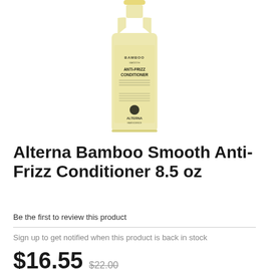[Figure (photo): A bottle of Alterna Bamboo Smooth Anti-Frizz Conditioner, cream/gold colored bottle with black label text, shown on white background.]
Alterna Bamboo Smooth Anti-Frizz Conditioner 8.5 oz
Be the first to review this product
Sign up to get notified when this product is back in stock
$16.55  $22.00